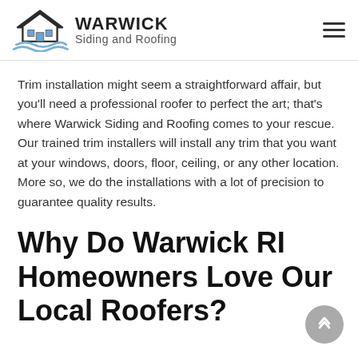WARWICK Siding and Roofing
Trim installation might seem a straightforward affair, but you'll need a professional roofer to perfect the art; that's where Warwick Siding and Roofing comes to your rescue. Our trained trim installers will install any trim that you want at your windows, doors, floor, ceiling, or any other location. More so, we do the installations with a lot of precision to guarantee quality results.
Why Do Warwick RI Homeowners Love Our Local Roofers?